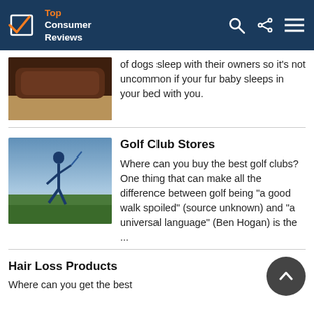Top Consumer Reviews
of dogs sleep with their owners so it's not uncommon if your fur baby sleeps in your bed with you.
Golf Club Stores
Where can you buy the best golf clubs? One thing that can make all the difference between golf being "a good walk spoiled" (source unknown) and "a universal language" (Ben Hogan) is the ...
Hair Loss Products
Where can you get the best